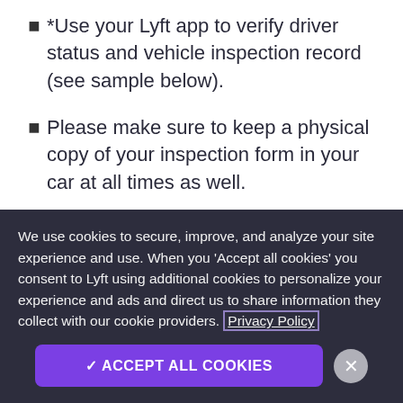*Use your Lyft app to verify driver status and vehicle inspection record (see sample below).
Please make sure to keep a physical copy of your inspection form in your car at all times as well.
$25 permit fee:
We use cookies to secure, improve, and analyze your site experience and use. When you 'Accept all cookies' you consent to Lyft using additional cookies to personalize your experience and ads and direct us to share information they collect with our cookie providers. Privacy Policy
✓ ACCEPT ALL COOKIES